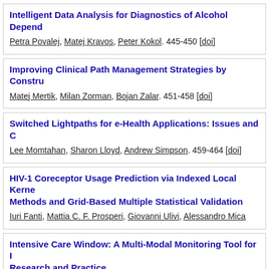Intelligent Data Analysis for Diagnostics of Alcohol Depend...
Petra Povalej, Matej Kravos, Peter Kokol. 445-450 [doi]
Improving Clinical Path Management Strategies by Constru...
Matej Mertik, Milan Zorman, Bojan Zalar. 451-458 [doi]
Switched Lightpaths for e-Health Applications: Issues and C...
Lee Momtahan, Sharon Lloyd, Andrew Simpson. 459-464 [doi]
HIV-1 Coreceptor Usage Prediction via Indexed Local Kerne... Methods and Grid-Based Multiple Statistical Validation
Iuri Fanti, Mattia C. F. Prosperi, Giovanni Ulivi, Alessandro Mica...
Intensive Care Window: A Multi-Modal Monitoring Tool for I... Research and Practice
K. Harald Gjermundrød, Marios Papa, Demetrios Zeinalipour-Ya... Dikaiakos, George Panayi, Theodoros Kyprianou. 471-476 [doi]